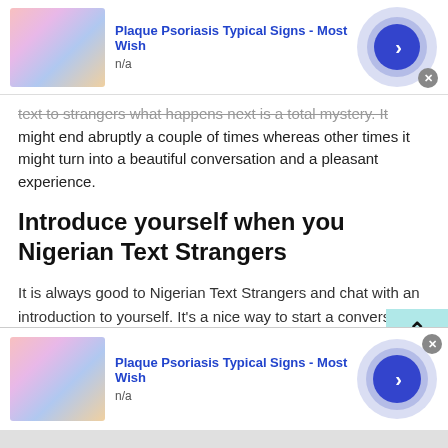[Figure (other): Ad banner: Plaque Psoriasis Typical Signs - Most Wish, n/a, with arrow button]
text to strangers what happens next is a total mystery. It might end abruptly a couple of times whereas other times it might turn into a beautiful conversation and a pleasant experience.
Introduce yourself when you Nigerian Text Strangers
It is always good to Nigerian Text Strangers and chat with an introduction to yourself. It's a nice way to start a conversation after you have texted your greetings. A
[Figure (other): Bottom ad banner: Plaque Psoriasis Typical Signs - Most Wish, n/a, with arrow button]